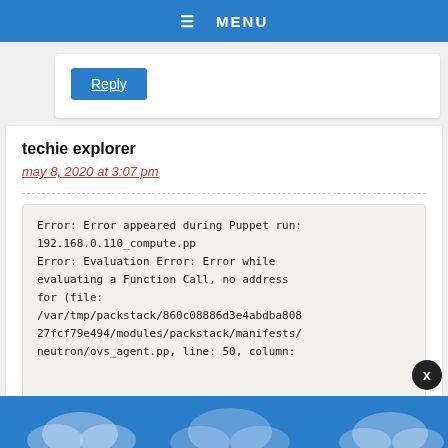≡ MENU
Reply
techie explorer
may 8, 2020 at 3:07 pm
Error: Error appeared during Puppet run: 192.168.0.110_compute.pp
Error: Evaluation Error: Error while evaluating a Function Call, no address for (file: /var/tmp/packstack/860c08886d3e4abdba80827fcf79e494/modules/packstack/manifests/neutron/ovs_agent.pp, line: 50, column: 27